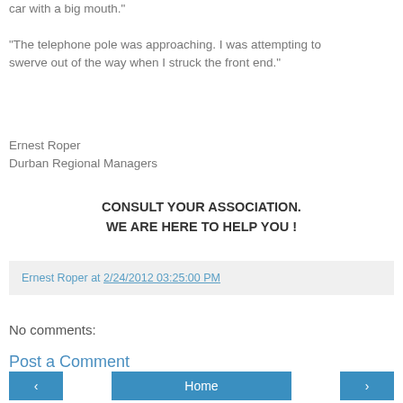car with a big mouth."
"The telephone pole was approaching. I was attempting to swerve out of the way when I struck the front end."
Ernest Roper
Durban Regional Managers
CONSULT YOUR ASSOCIATION.
WE ARE HERE TO HELP YOU !
Ernest Roper at 2/24/2012 03:25:00 PM
No comments:
Post a Comment
< Home >